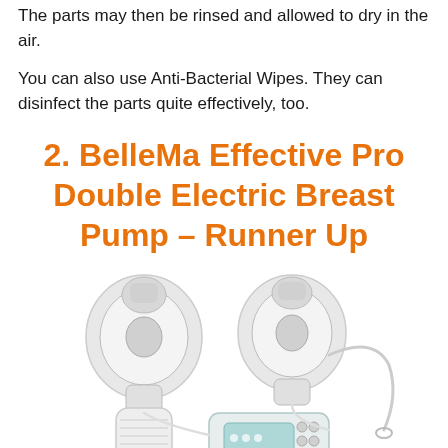The parts may then be rinsed and allowed to dry in the air.
You can also use Anti-Bacterial Wipes. They can disinfect the parts quite effectively, too.
2. BelleMa Effective Pro Double Electric Breast Pump – Runner Up
[Figure (photo): Photo of BelleMa Effective Pro Double Electric Breast Pump showing two breast shields connected to a central pump unit with a digital display and carrying strap.]